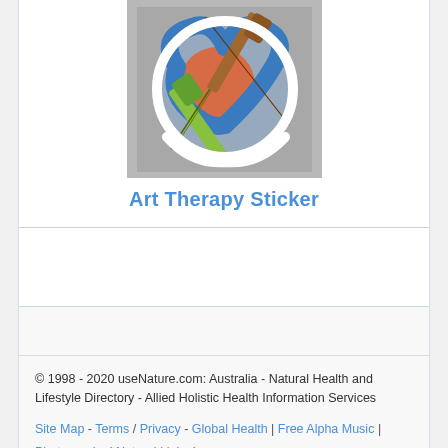[Figure (illustration): Art therapy sticker illustration: a heart-shaped design with watercolor-style image of two guitars crossed over an orange/blue background, white border cutout sticker style]
Art Therapy Sticker
© 1998 - 2020 useNature.com: Australia - Natural Health and Lifestyle Directory - Allied Holistic Health Information Services
Site Map - Terms / Privacy - Global Health | Free Alpha Music | Photography | Natural Links |